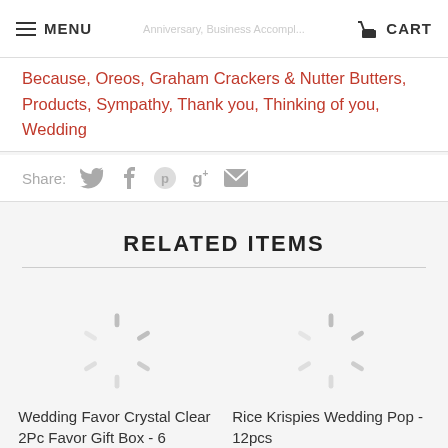MENU | CART
Anniversary, Business Accomplishments, Congratulations, Get Well, Just Because, Just Because, Oreos, Graham Crackers & Nutter Butters, Products, Sympathy, Thank you, Thinking of you, Wedding
Share:
RELATED ITEMS
[Figure (other): Loading spinner for Wedding Favor Crystal Clear 2Pc Favor Gift Box - 6]
Wedding Favor Crystal Clear 2Pc Favor Gift Box - 6
[Figure (other): Loading spinner for Rice Krispies Wedding Pop - 12pcs]
Rice Krispies Wedding Pop - 12pcs